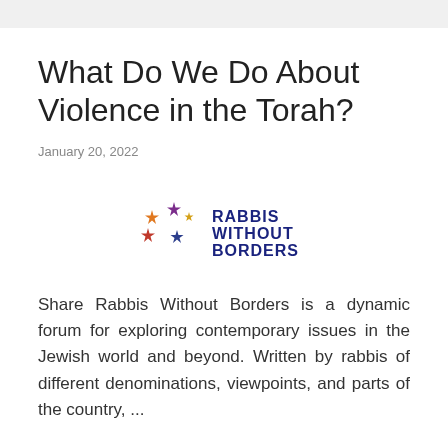What Do We Do About Violence in the Torah?
January 20, 2022
[Figure (logo): Rabbis Without Borders logo with star-shaped figures in orange, purple, and red, and the text RABBIS WITHOUT BORDERS in dark blue/navy]
Share Rabbis Without Borders is a dynamic forum for exploring contemporary issues in the Jewish world and beyond. Written by rabbis of different denominations, viewpoints, and parts of the country, ...